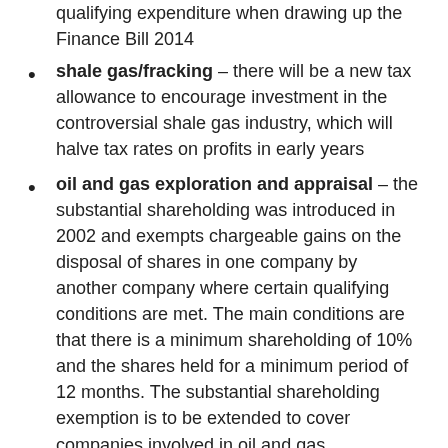qualifying expenditure when drawing up the Finance Bill 2014
shale gas/fracking – there will be a new tax allowance to encourage investment in the controversial shale gas industry, which will halve tax rates on profits in early years
oil and gas exploration and appraisal – the substantial shareholding was introduced in 2002 and exempts chargeable gains on the disposal of shares in one company by another company where certain qualifying conditions are met. The main conditions are that there is a minimum shareholding of 10% and the shares held for a minimum period of 12 months. The substantial shareholding exemption is to be extended to cover companies involved in oil and gas exploration. This measure will take effect